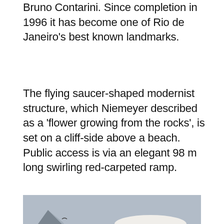Bruno Contarini. Since completion in 1996 it has become one of Rio de Janeiro's best known landmarks.
The flying saucer-shaped modernist structure, which Niemeyer described as a 'flower growing from the rocks', is set on a cliff-side above a beach. Public access is via an elegant 98 m long swirling red-carpeted ramp.
[Figure (photo): Photograph of a flying saucer-shaped modernist museum building (Niterói Contemporary Art Museum) perched on a cliff-side, with a large rocky mountain visible in the background and greenery on the cliff below the building, under a grey sky.]